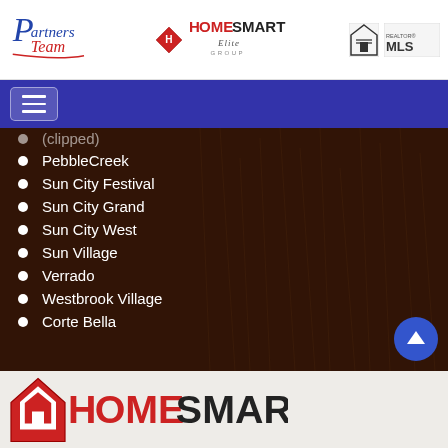[Figure (logo): Partners Team logo (cursive red and blue text) on the left; HomeSmart Elite Group logo in center; Equal Housing Opportunity and Realtor MLS logos on right]
[Figure (other): Blue navigation bar with hamburger menu icon]
(partial, top-clipped item)
PebbleCreek
Sun City Festival
Sun City Grand
Sun City West
Sun Village
Verrado
Westbrook Village
Corte Bella
[Figure (logo): HomeSmart logo (large red diamond house icon with HOMESMART text) at bottom of page]